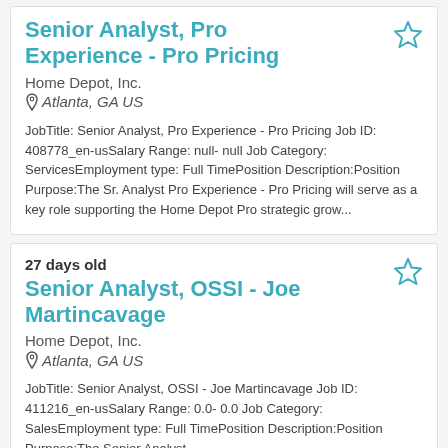Senior Analyst, Pro Experience - Pro Pricing
Home Depot, Inc.
Atlanta, GA US
JobTitle: Senior Analyst, Pro Experience - Pro Pricing Job ID: 408778_en-usSalary Range: null- null Job Category: ServicesEmployment type: Full TimePosition Description:Position Purpose:The Sr. Analyst Pro Experience - Pro Pricing will serve as a key role supporting the Home Depot Pro strategic grow...
27 days old
Senior Analyst, OSSI - Joe Martincavage
Home Depot, Inc.
Atlanta, GA US
JobTitle: Senior Analyst, OSSI - Joe Martincavage Job ID: 411216_en-usSalary Range: 0.0- 0.0 Job Category: SalesEmployment type: Full TimePosition Description:Position Purpose:The Senior Analyst